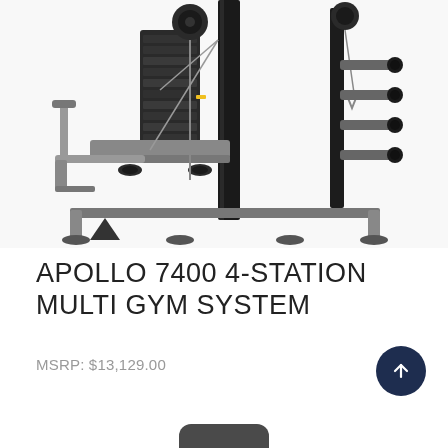[Figure (photo): Multi-station gym machine (Apollo 7400 4-Station Multi Gym System) photographed against a white background, showing weight stacks, pulleys, cables, leg press and various exercise stations. The machine is predominantly dark gray/black and silver/chrome.]
APOLLO 7400 4-STATION MULTI GYM SYSTEM
MSRP: $13,129.00